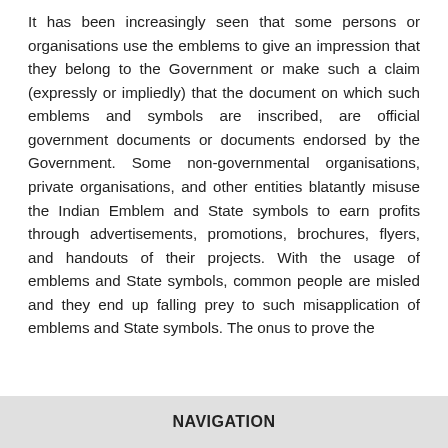It has been increasingly seen that some persons or organisations use the emblems to give an impression that they belong to the Government or make such a claim (expressly or impliedly) that the document on which such emblems and symbols are inscribed, are official government documents or documents endorsed by the Government. Some non-governmental organisations, private organisations, and other entities blatantly misuse the Indian Emblem and State symbols to earn profits through advertisements, promotions, brochures, flyers, and handouts of their projects. With the usage of emblems and State symbols, common people are misled and they end up falling prey to such misapplication of emblems and State symbols. The onus to prove the
NAVIGATION